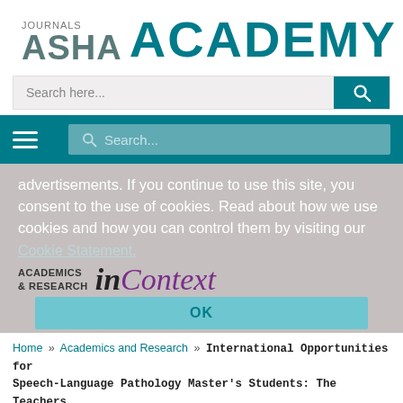[Figure (logo): ASHA Journals Academy logo with teal and grey text]
Search here...
Search...
advertisements. If you continue to use this site, you consent to the use of cookies. Read about how we use cookies and how you can control them by visiting our
Cookie Statement.
ACADEMICS & RESEARCH inContext
OK
Home » Academics and Research » International Opportunities for Speech-Language Pathology Master's Students: The Teachers